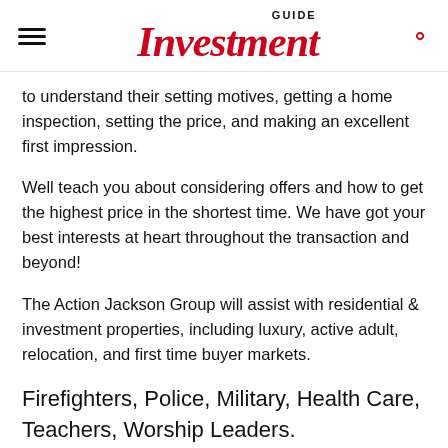Investment GUIDE
to understand their setting motives, getting a home inspection, setting the price, and making an excellent first impression.
Well teach you about considering offers and how to get the highest price in the shortest time. We have got your best interests at heart throughout the transaction and beyond!
The Action Jackson Group will assist with residential & investment properties, including luxury, active adult, relocation, and first time buyer markets.
Firefighters, Police, Military, Health Care, Teachers, Worship Leaders.